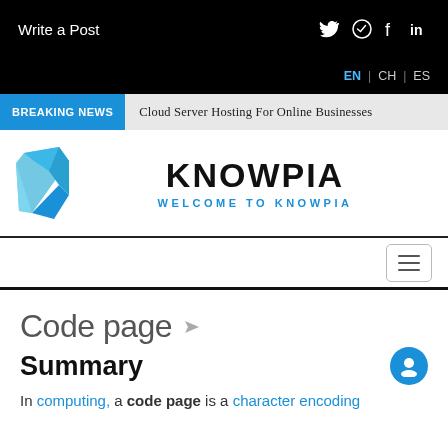Write a Post
EN | CH | ES
BREAKING NEWS   Cloud Server Hosting For Online Businesses
[Figure (logo): Knowpia logo: blue faceted book/K icon with KNOWPIA text and WELCOME TO KNOWPIA subtitle]
Code page
Summary
In computing, a code page is a character encoding